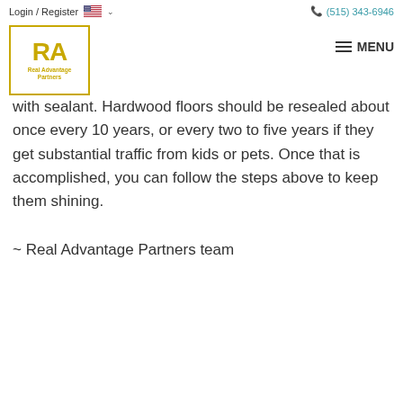Login / Register  (515) 343-6946  Real Advantage Partners  MENU
with sealant. Hardwood floors should be resealed about once every 10 years, or every two to five years if they get substantial traffic from kids or pets. Once that is accomplished, you can follow the steps above to keep them shining.
~ Real Advantage Partners team